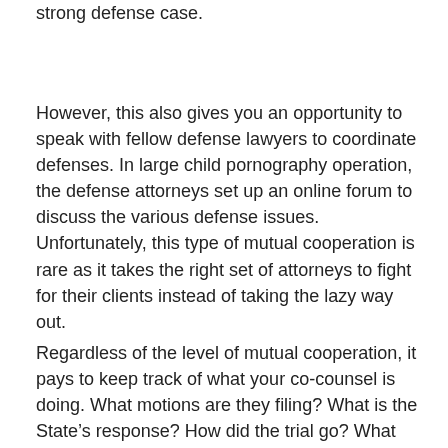strong defense case.
However, this also gives you an opportunity to speak with fellow defense lawyers to coordinate defenses. In large child pornography operation, the defense attorneys set up an online forum to discuss the various defense issues. Unfortunately, this type of mutual cooperation is rare as it takes the right set of attorneys to fight for their clients instead of taking the lazy way out.
Regardless of the level of mutual cooperation, it pays to keep track of what your co-counsel is doing. What motions are they filing? What is the State’s response? How did the trial go? What games did the State try to play? What